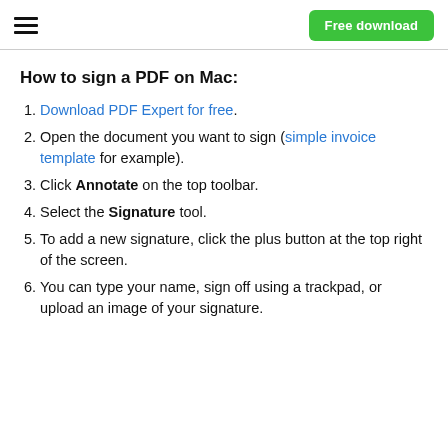Free download
How to sign a PDF on Mac:
Download PDF Expert for free.
Open the document you want to sign (simple invoice template for example).
Click Annotate on the top toolbar.
Select the Signature tool.
To add a new signature, click the plus button at the top right of the screen.
You can type your name, sign off using a trackpad, or upload an image of your signature.